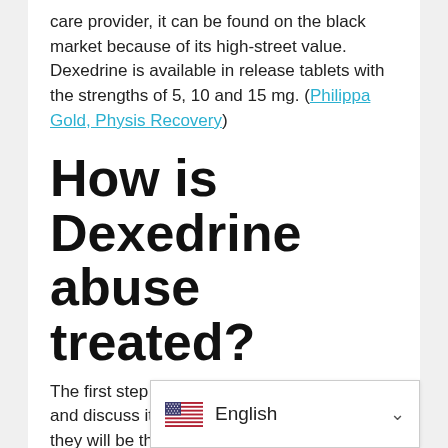care provider, it can be found on the black market because of its high-street value. Dexedrine is available in release tablets with the strengths of 5, 10 and 15 mg. (Philippa Gold, Physis Recovery)
How is Dexedrine abuse treated?
The first step is to acknowledge a problem and discuss it with a medical professional, they will be the best placed to adv... treatment. Wh...